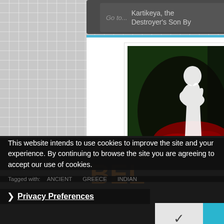Go to... Kartikeya, the Destroyer's Son By
[Figure (illustration): Book cover for 'Make Believe by Maya Kavita' showing dark green and black background with white silhouette figure and red blood splatter, text 'KAVITA' vertically on right side, 'AKE BELIEV' visible as large white bold text]
Make Believe by Maya Kavita | Book
This website intends to use cookies to improve the site and your experience. By continuing to browse the site you are agreeing to accept our use of cookies.
❯ Privacy Preferences
Tagged with: ANCIENT   GREECE   INDIAN
KAVITA KANE   LITERATURE   MYTHOLOGY
REVIEWS
✓  I Agree